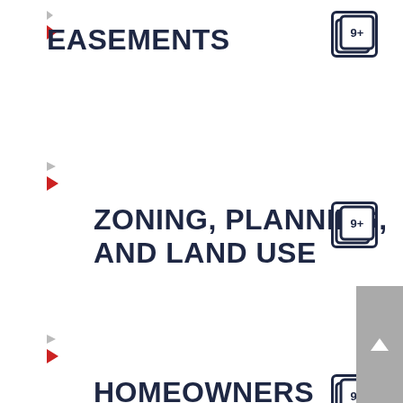EASEMENTS
[Figure (other): Badge icon showing 9+]
ZONING, PLANNING, AND LAND USE
[Figure (other): Badge icon showing 9+]
HOMEOWNERS
[Figure (other): Badge icon showing 9+]